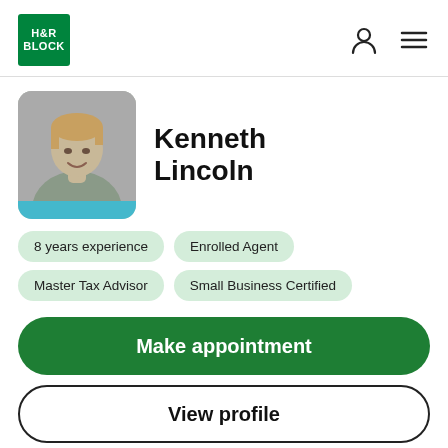H&R BLOCK
[Figure (photo): Profile photo of Kenneth Lincoln, a man with light brown hair, wearing a grey shirt, with a light blue bar at the bottom of the photo]
Kenneth Lincoln
8 years experience
Enrolled Agent
Master Tax Advisor
Small Business Certified
Make appointment
View profile